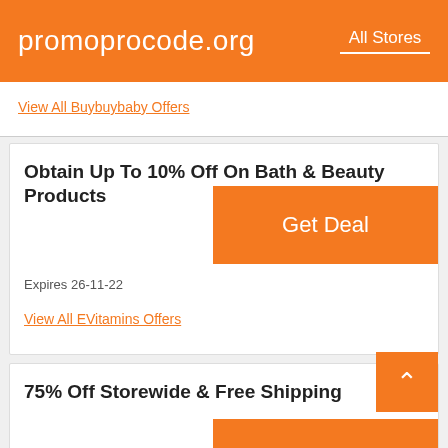promoprocode.org   All Stores
View All Buybuybaby Offers
Obtain Up To 10% Off On Bath & Beauty Products
Expires 26-11-22
View All EVitamins Offers
75% Off Storewide & Free Shipping
Expires 27-10-22
View All Qwertee Offers